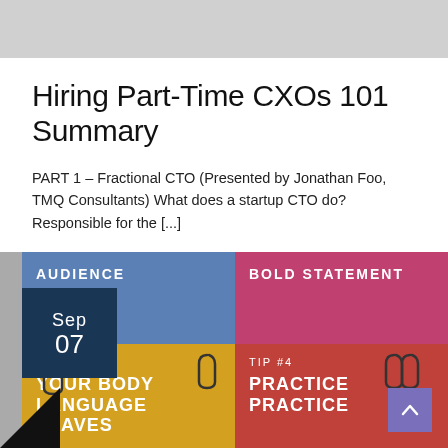Hiring Part-Time CXOs 101 Summary
PART 1 – Fractional CTO (Presented by Jonathan Foo, TMQ Consultants) What does a startup CTO do? Responsible for the [...]
[Figure (infographic): A 2x2 grid of colored cards. Top-left: blue card labeled 'AUDIENCE' with a dark navy date box overlay showing 'Sep 07'. Top-right: pink/magenta card labeled 'BOLD STATEMENT'. Bottom-left: yellow/gold card with 'TIP #3' and 'YOUR BODY LANGUAGE LEAVES...' with paperclip icons. Bottom-right: red card with 'TIP #4' and 'PRACTICE PRACTICE' with paperclip icons. A purple scroll-to-top button is in the bottom right. A black triangle is in the bottom left corner.]